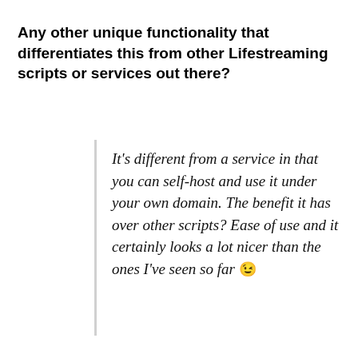Any other unique functionality that differentiates this from other Lifestreaming scripts or services out there?
It's different from a service in that you can self-host and use it under your own domain. The benefit it has over other scripts? Ease of use and it certainly looks a lot nicer than the ones I've seen so far 😉